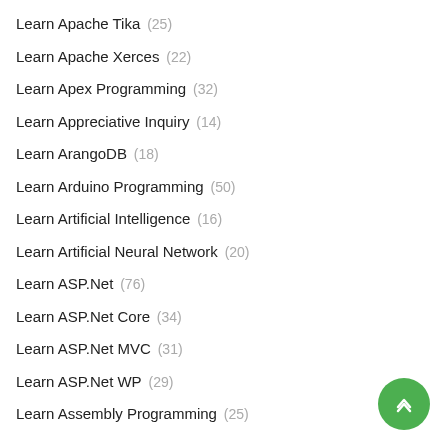Learn Apache Tika (25)
Learn Apache Xerces (22)
Learn Apex Programming (32)
Learn Appreciative Inquiry (14)
Learn ArangoDB (18)
Learn Arduino Programming (50)
Learn Artificial Intelligence (16)
Learn Artificial Neural Network (20)
Learn ASP.Net (76)
Learn ASP.Net Core (34)
Learn ASP.Net MVC (31)
Learn ASP.Net WP (29)
Learn Assembly Programming (25)